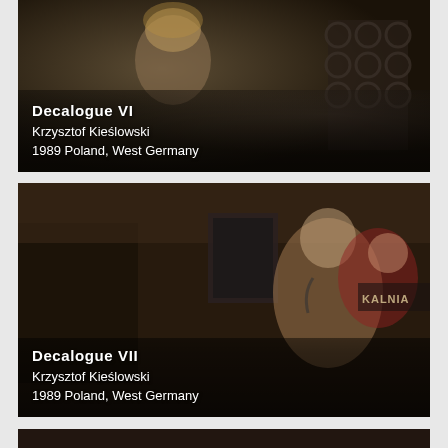[Figure (photo): Film still from Decalogue VI — dark indoor scene with figures, one wearing a curly wig, decorative circular elements on wall in background. Text overlay: Decalogue VI, Krzysztof Kieślowski, 1989 Poland, West Germany.]
[Figure (photo): Film still from Decalogue VII — woman on telephone holding a small child in a red jacket, indoor public space with 'KALNIA' sign visible. Text overlay: Decalogue VII, Krzysztof Kieślowski, 1989 Poland, West Germany.]
[Figure (photo): Partial film still at bottom of page — dark scene, partially cropped.]